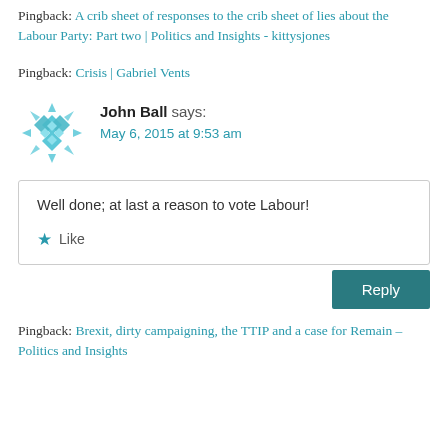Pingback: A crib sheet of responses to the crib sheet of lies about the Labour Party: Part two | Politics and Insights - kittysjones
Pingback: Crisis | Gabriel Vents
[Figure (illustration): Teal/cyan decorative avatar icon with diamond/cross pattern and arrow-like shapes around it]
John Ball says: May 6, 2015 at 9:53 am
Well done; at last a reason to vote Labour!
Like
Reply
Pingback: Brexit, dirty campaigning, the TTIP and a case for Remain – Politics and Insights